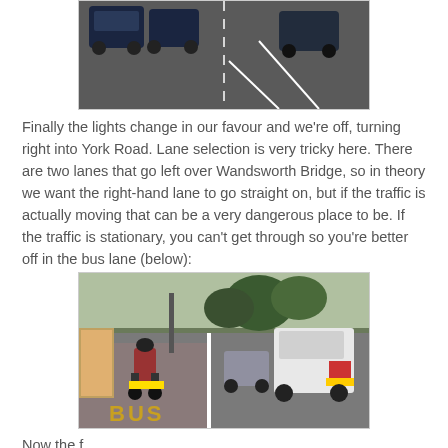[Figure (photo): Street scene showing parked cars on a road with road markings visible, top portion of the image cut off.]
Finally the lights change in our favour and we're off, turning right into York Road. Lane selection is very tricky here. There are two lanes that go left over Wandsworth Bridge, so in theory we want the right-hand lane to go straight on, but if the traffic is actually moving that can be a very dangerous place to be. If the traffic is stationary, you can't get through so you're better off in the bus lane (below):
[Figure (photo): Street scene showing a motorcyclist riding in a bus lane marked with BUS on the road surface, with a white van and other cars in adjacent traffic lanes.]
Now the f...